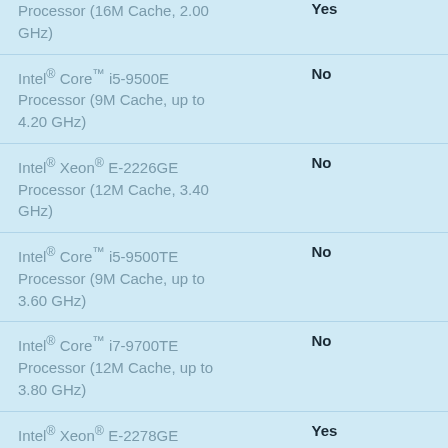| Processor | Supported |
| --- | --- |
| Intel® Xeon® E-2278GEL Processor (16M Cache, 2.00 GHz) | Yes (partial, shown at top) |
| Intel® Core™ i5-9500E Processor (9M Cache, up to 4.20 GHz) | No |
| Intel® Xeon® E-2226GE Processor (12M Cache, 3.40 GHz) | No |
| Intel® Core™ i5-9500TE Processor (9M Cache, up to 3.60 GHz) | No |
| Intel® Core™ i7-9700TE Processor (12M Cache, up to 3.80 GHz) | No |
| Intel® Xeon® E-2278GE Processor (16M Cache, 3.30 GHz) | Yes |